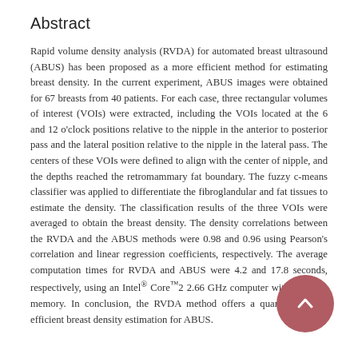Abstract
Rapid volume density analysis (RVDA) for automated breast ultrasound (ABUS) has been proposed as a more efficient method for estimating breast density. In the current experiment, ABUS images were obtained for 67 breasts from 40 patients. For each case, three rectangular volumes of interest (VOIs) were extracted, including the VOIs located at the 6 and 12 o'clock positions relative to the nipple in the anterior to posterior pass and the lateral position relative to the nipple in the lateral pass. The centers of these VOIs were defined to align with the center of nipple, and the depths reached the retromammary fat boundary. The fuzzy c-means classifier was applied to differentiate the fibroglandular and fat tissues to estimate the density. The classification results of the three VOIs were averaged to obtain the breast density. The density correlations between the RVDA and the ABUS methods were 0.98 and 0.96 using Pearson's correlation and linear regression coefficients, respectively. The average computation times for RVDA and ABUS were 4.2 and 17.8 seconds, respectively, using an Intel® Core™2 2.66 GHz computer with 3.25 GB memory. In conclusion, the RVDA method offers a quantitative and efficient breast density estimation for ABUS.